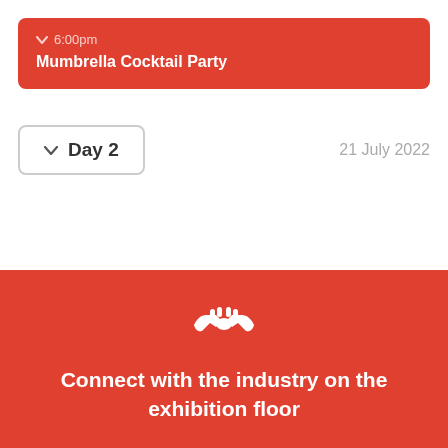6:00pm
Mumbrella Cocktail Party
Day 2
21 July 2022
[Figure (illustration): White handshake/partnership icon on red background]
Connect with the industry on the exhibition floor